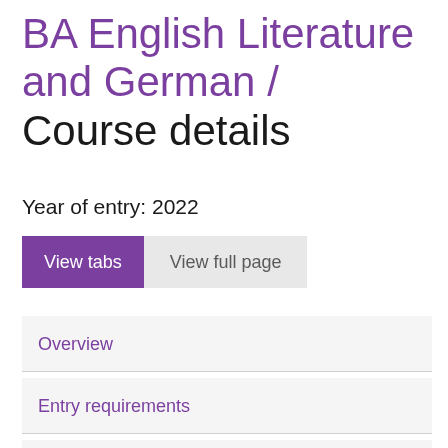BA English Literature and German / Course details
Year of entry: 2022
View tabs | View full page
Overview
Entry requirements
Application and selection